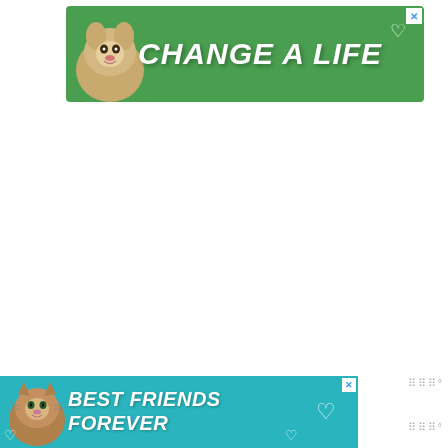[Figure (illustration): Green banner advertisement showing a dog photo on the left and bold white italic text reading 'CHANGE A LIFE' with a small heart icon, and a close/X button in top right corner.]
[Figure (illustration): Teal/aqua banner advertisement at the bottom showing a cat photo on the left and bold white italic text reading 'BEST FRIENDS FOREVER' with heart icons and a close button.]